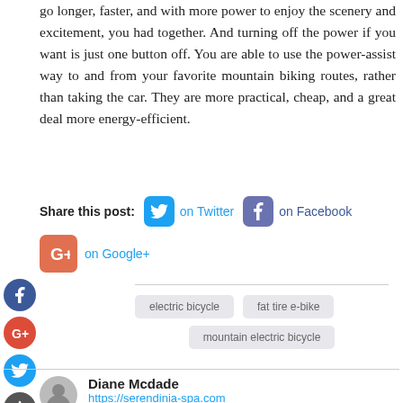go longer, faster, and with more power to enjoy the scenery and excitement, you had together. And turning off the power if you want is just one button off. You are able to use the power-assist way to and from your favorite mountain biking routes, rather than taking the car. They are more practical, cheap, and a great deal more energy-efficient.
Share this post: on Twitter on Facebook on Google+
electric bicycle
fat tire e-bike
mountain electric bicycle
Diane Mcdade
https://serendinia-spa.com